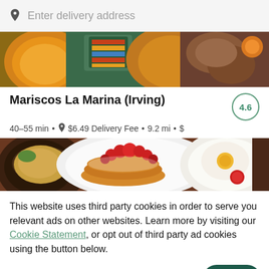Enter delivery address
[Figure (photo): Food photo banner showing colorful Mexican seafood dishes from above]
Mariscos La Marina (Irving)
40-55 min • $6.49 Delivery Fee • 9.2 mi • $
[Figure (photo): Food photo banner showing pancakes with strawberries, eggs, and other breakfast dishes]
This website uses third party cookies in order to serve you relevant ads on other websites. Learn more by visiting our Cookie Statement, or opt out of third party ad cookies using the button below.
OPT OUT
GOT IT